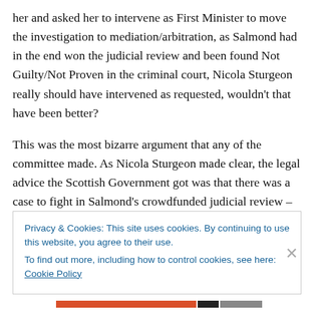her and asked her to intervene as First Minister to move the investigation to mediation/arbitration, as Salmond had in the end won the judicial review and been found Not Guilty/Not Proven in the criminal court, Nicola Sturgeon really should have intervened as requested, wouldn't that have been better?
This was the most bizarre argument that any of the committee made. As Nicola Sturgeon made clear, the legal advice the Scottish Government got was that there was a case to fight in Salmond's crowdfunded judicial review –
Privacy & Cookies: This site uses cookies. By continuing to use this website, you agree to their use.
To find out more, including how to control cookies, see here: Cookie Policy